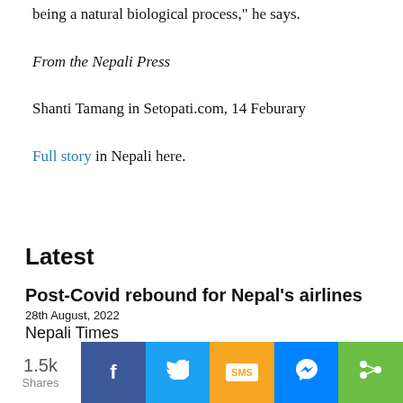being a natural biological process," he says.
From the Nepali Press
Shanti Tamang in Setopati.com, 14 Feburary
Full story in Nepali here.
Latest
Post-Covid rebound for Nepal's airlines
28th August, 2022
Nepali Times
1.5k Shares